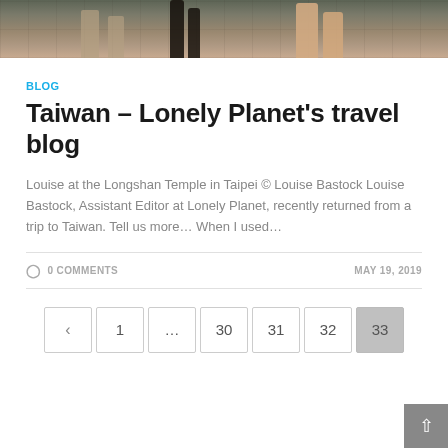[Figure (photo): Cropped photo of people's legs/feet walking on a wet tiled pavement, bottom portion of a street scene]
BLOG
Taiwan – Lonely Planet's travel blog
Louise at the Longshan Temple in Taipei © Louise Bastock Louise Bastock, Assistant Editor at Lonely Planet, recently returned from a trip to Taiwan. Tell us more… When I used…
0 COMMENTS    MAY 19, 2019